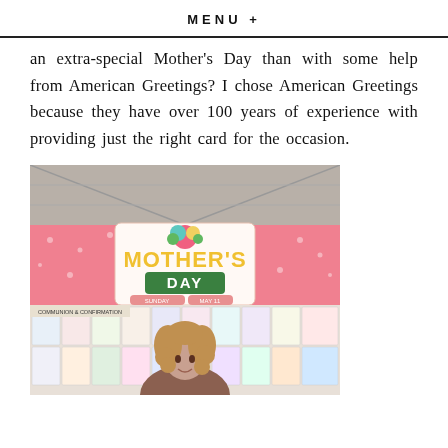MENU +
an extra-special Mother's Day than with some help from American Greetings? I chose American Greetings because they have over 100 years of experience with providing just the right card for the occasion.
[Figure (photo): A woman with curly hair standing in front of a colorful greeting card display wall at a store, featuring a large pink Mother's Day sign with floral decorations. The sign reads MOTHER'S DAY SUNDAY MAY 11. A Communion & Confirmation section sign is also visible on the left.]